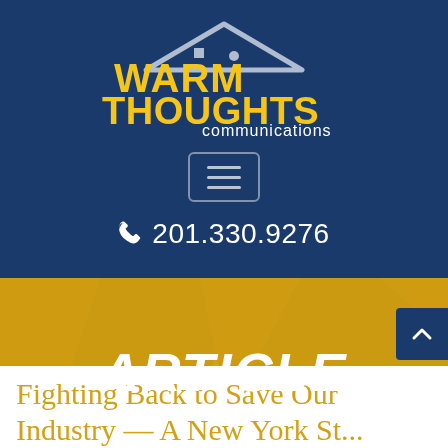[Figure (logo): Warm Thoughts Communications logo — yellow bold text 'WARM THOUGHTS' with a light grey house/roof icon above, and 'communications' in white below, on dark blue background]
[Figure (other): Hamburger menu button — three horizontal lines in a rounded rectangle border]
📞 201.330.9276
ARTICLE
Fighting Back to Save Our Industry — A New York St...